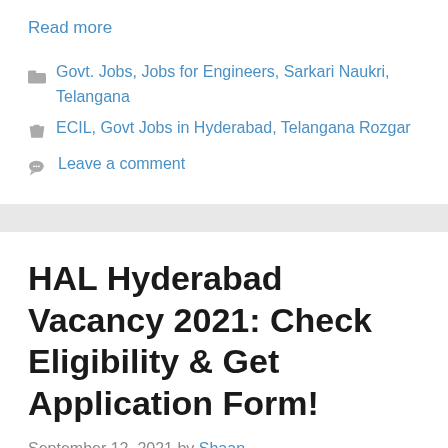Read more
Govt. Jobs, Jobs for Engineers, Sarkari Naukri, Telangana
ECIL, Govt Jobs in Hyderabad, Telangana Rozgar
Leave a comment
HAL Hyderabad Vacancy 2021: Check Eligibility & Get Application Form!
September 12, 2021 by Shaan